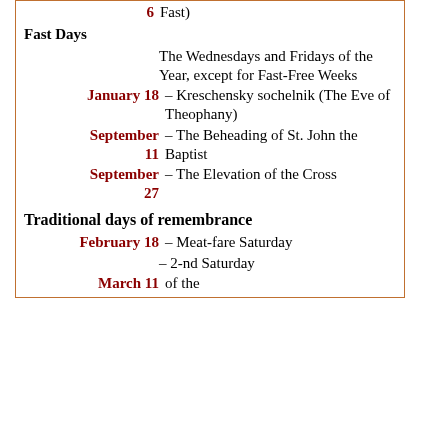6 Fast)
Fast Days
The Wednesdays and Fridays of the Year, except for Fast-Free Weeks
January 18 – Kreschensky sochelnik (The Eve of Theophany)
September 11 – The Beheading of St. John the Baptist
September 27 – The Elevation of the Cross
Traditional days of remembrance
February 18 – Meat-fare Saturday
– 2-nd Saturday
March 11 – of the